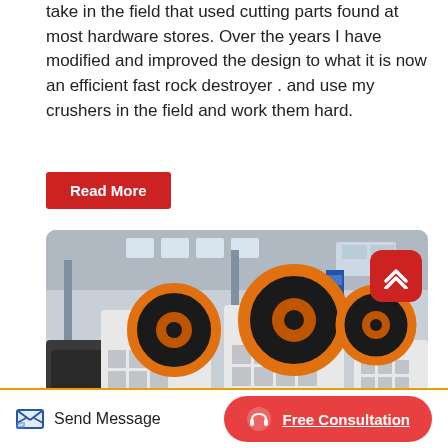take in the field that used cutting parts found at most hardware stores. Over the years I have modified and improved the design to what it is now an efficient fast rock destroyer . and use my crushers in the field and work them hard.
Read More
[Figure (photo): Industrial jaw crushers with large black and orange flywheels inside a factory warehouse. Multiple crusher units visible, with white structural frames and orange-rimmed wheels. Factory has steel columns, windows, and blue signage.]
Send Message
Free Consultation